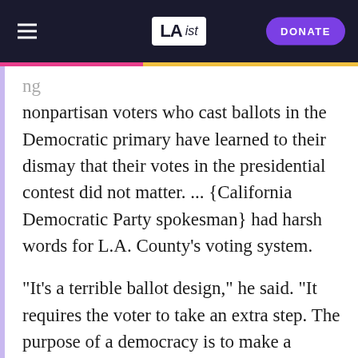LAist | DONATE
nonpartisan voters who cast ballots in the Democratic primary have learned to their dismay that their votes in the presidential contest did not matter. ... {California Democratic Party spokesman} had harsh words for L.A. County's voting system.
"It's a terrible ballot design," he said. "It requires the voter to take an extra step. The purpose of a democracy is to make a person's vote easy to count. If it turns out that they were aware of this problem previously, then